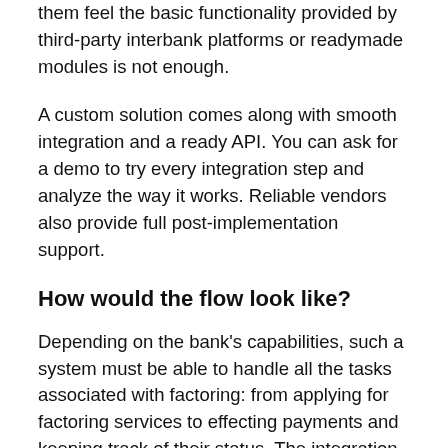them feel the basic functionality provided by third-party interbank platforms or readymade modules is not enough.
A custom solution comes along with smooth integration and a ready API. You can ask for a demo to try every integration step and analyze the way it works. Reliable vendors also provide full post-implementation support.
How would the flow look like?
Depending on the bank's capabilities, such a system must be able to handle all the tasks associated with factoring: from applying for factoring services to effecting payments and keeping track of their status. The integration can be either dynamic, real-time or in the offline mode, via data uploads – again, it all depends on